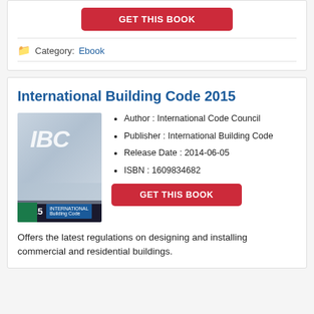[Figure (other): Red GET THIS BOOK button at top of page]
Category:  Ebook
International Building Code 2015
[Figure (photo): Cover of International Building Code 2015 book showing IBC logo, 2015 year, dark and blue design]
Author : International Code Council
Publisher : International Building Code
Release Date : 2014-06-05
ISBN : 1609834682
[Figure (other): Red GET THIS BOOK button]
Offers the latest regulations on designing and installing commercial and residential buildings.